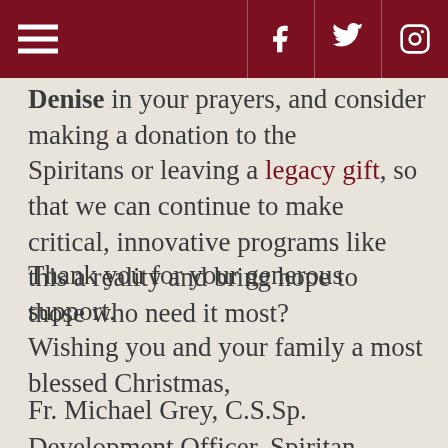[navigation header with hamburger menu and social icons: Facebook, Twitter, Instagram]
Denise in your prayers, and consider making a donation to the Spiritans or leaving a legacy gift, so that we can continue to make critical, innovative programs like this a reality and bring hope to those who need it most?
Thank you for your generous support.
Wishing you and your family a most blessed Christmas,
Fr. Michael Grey, C.S.Sp.
Development Officer, Spiritan Office for Mission